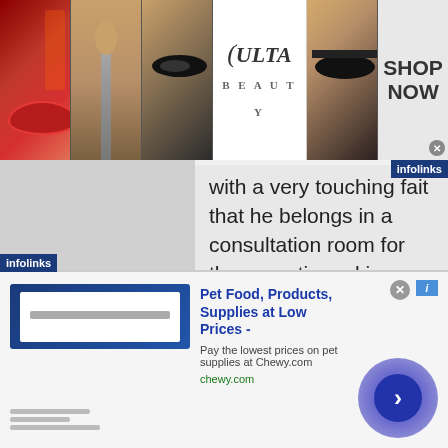[Figure (screenshot): Top banner advertisement for Ulta Beauty showing makeup images (lips, brush, eye), Ulta Beauty logo, and SHOP NOW button]
with a very touching fait that he belongs in a consultation room for the neurotic and insane. He believes he is a high authority on shock and trauma, and rushes quickly into his favorite advertising media (the magazine article) to air his views on mental states — when as a matter of fact, the opinion of the local grocer is probably more
[Figure (screenshot): Bottom banner advertisement for Chewy.com: Pet Food, Products, Supplies at Low Prices - Pay the lowest prices on pet supplies at Chewy.com]